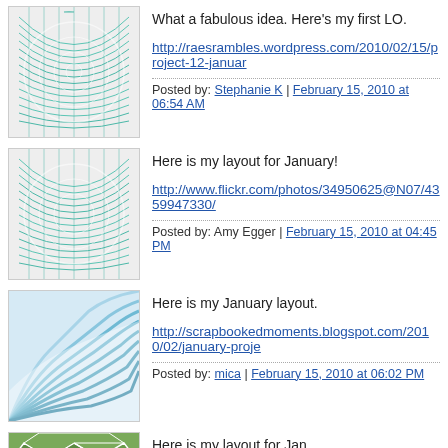[Figure (illustration): Teal/green circular pattern avatar for Stephanie K]
What a fabulous idea. Here's my first LO.
http://raesrambles.wordpress.com/2010/02/15/project-12-januar...
Posted by: Stephanie K | February 15, 2010 at 06:54 AM
[Figure (illustration): Teal/green circular pattern avatar for Amy Egger]
Here is my layout for January!
http://www.flickr.com/photos/34950625@N07/4359947330/
Posted by: Amy Egger | February 15, 2010 at 04:45 PM
[Figure (illustration): Blue wave pattern avatar for mica]
Here is my January layout.
http://scrapbookedmoments.blogspot.com/2010/02/january-proje...
Posted by: mica | February 15, 2010 at 06:02 PM
[Figure (illustration): Green polygon pattern avatar for Rubyvm]
Here is my layout for Jan.
http://s271.photobucket.com/albums/jj135/rubyvm/?action=view...
Posted by: Rubyvm | February 15, 2010 at 06:38 PM